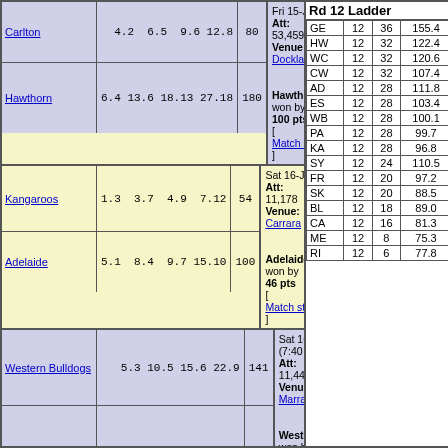| Team | Q1 | Q2 | Q3 | Q4 | Total | Match Info |
| --- | --- | --- | --- | --- | --- | --- |
| Carlton | 4.2 | 6.5 | 9.6 | 12.8 | 80 | Fri 15-Jun-2007 7:40 PM Att: 53,459 Venue: Docklands |
| Hawthorn | 6.4 | 13.6 | 18.13 | 27.18 | 180 | Hawthorn won by 100 pts [Match stats] |
| Kangaroos | 1.3 | 3.7 | 4.9 | 7.12 | 54 | Sat 16-Jun-2007 7:15 PM Att: 11,178 Venue: Carrara |
| Adelaide | 5.1 | 8.4 | 9.7 | 15.10 | 100 | Adelaide won by 46 pts [Match stats] |
| Western Bulldogs | 5.3 | 10.5 | 15.6 | 22.9 | 141 | Sat 16-Jun-2007 7:10 PM (7:40 PM) Att: 11,449 Venue: Marrara Oval |
| Fremantle | 7.4 | 10.10 | 13.17 | 16.19 | 115 | Western Bulldogs won by 26 pts [Match stats] |
| Rd 12 Ladder |  |  |  |
| --- | --- | --- | --- |
| GE | 12 | 36 | 155.4 |
| HW | 12 | 32 | 122.4 |
| WC | 12 | 32 | 120.6 |
| CW | 12 | 32 | 107.4 |
| AD | 12 | 28 | 111.8 |
| ES | 12 | 28 | 103.4 |
| WB | 12 | 28 | 100.1 |
| PA | 12 | 28 | 99.7 |
| KA | 12 | 28 | 96.8 |
| SY | 12 | 24 | 110.5 |
| FR | 12 | 20 | 97.2 |
| SK | 12 | 20 | 88.5 |
| BL | 12 | 18 | 89.0 |
| CA | 12 | 16 | 81.3 |
| ME | 12 | 8 | 75.3 |
| RI | 12 | 6 | 77.8 |